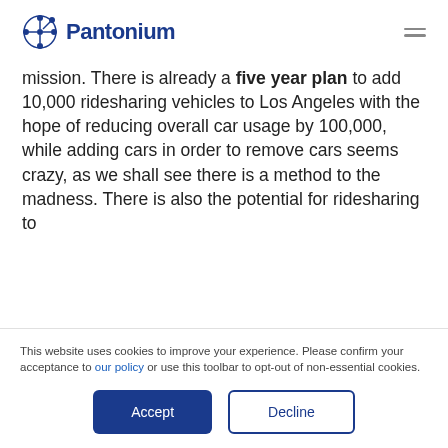Pantonium
mission. There is already a five year plan to add 10,000 ridesharing vehicles to Los Angeles with the hope of reducing overall car usage by 100,000, while adding cars in order to remove cars seems crazy, as we shall see there is a method to the madness. There is also the potential for ridesharing to
This website uses cookies to improve your experience. Please confirm your acceptance to our policy or use this toolbar to opt-out of non-essential cookies.